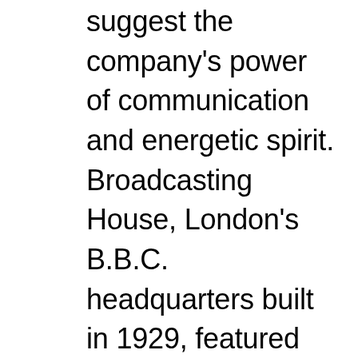suggest the company's power of communication and energetic spirit. Broadcasting House, London's B.B.C. headquarters built in 1929, featured modern interior design, most of it proudly executed by British firms. Dorn's rugs decorated the third-floor waiting room.